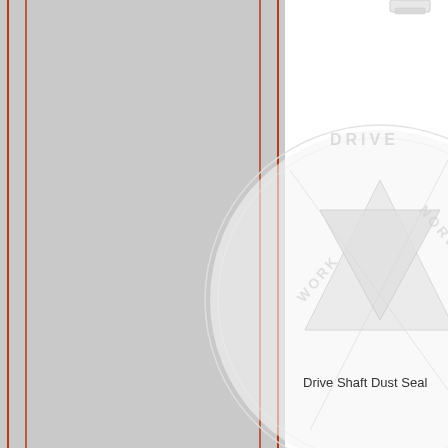[Figure (engineering-diagram): Left panel: vertical gray rectangle with two orange/red vertical border lines on left and right edges, and two additional inner vertical red lines near the borders. Right panel: partial view of a circular drive shaft dust seal component with text around the circumference reading 'DRIVE', 'WORK', 'DRIVE' and internal geometric shapes including triangles. A small white tab or clip is visible at the top.]
Drive Shaft Dust Seal